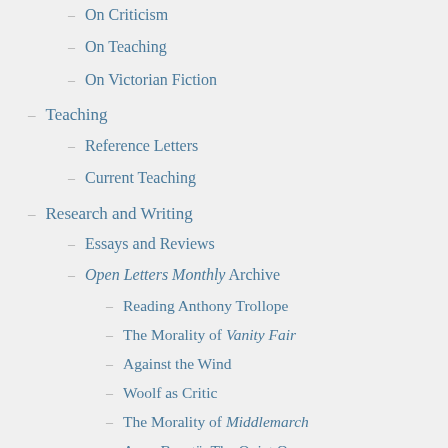On Criticism
On Teaching
On Victorian Fiction
Teaching
Reference Letters
Current Teaching
Research and Writing
Essays and Reviews
Open Letters Monthly Archive
Reading Anthony Trollope
The Morality of Vanity Fair
Against the Wind
Woolf as Critic
The Morality of Middlemarch
Anne Brontë: The Quiet One